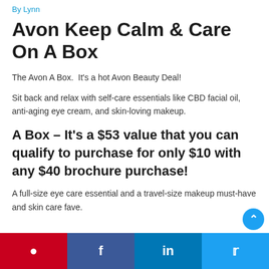By Lynn
Avon Keep Calm & Care On A Box
The Avon A Box.  It's a hot Avon Beauty Deal!
Sit back and relax with self-care essentials like CBD facial oil, anti-aging eye cream, and skin-loving makeup.
A Box – It's a $53 value that you can qualify to purchase for only $10 with any $40 brochure purchase!
A full-size eye care essential and a travel-size makeup must-have and skin care fave.